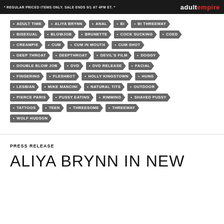REGULAR PRICED ITEMS ONLY. SALE ENDS 9/1 AT 4PM ET. | adultempire
ADULT TIME • ALIYA BRYNN • ANAL • BI • BI THREEWAY • BISEXUAL • BLOWJOB • BRUNETTE • COCK SUCKING • COED • CREAMPIE • CUM • CUM IN MOUTH • CUM SHOT • DEEP THROAT • DEEPTHROAT • DEVIL'S FILM • DOGGY • DOUBLE BLOW JOB • DVD • DVD RELEASE • FACIAL • FINGERING • FLESHBOT • HOLLY KINGSTOWN • HUNG • LESBIAN • MIKE MANCINI • NATURAL TITS • OUTDOOR • PIERCE PARIS • PUSSY EATING • RIMMING • SHAVED PUSSY • TATTOOS • TEEN • THREESOME • THREEWAY • WOLF HUDSON
PRESS RELEASE
ALIYA BRYNN IN NEW